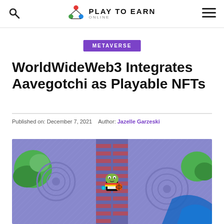Play To Earn Online (logo, search icon, hamburger menu)
METAVERSE
WorldWideWeb3 Integrates Aavegotchi as Playable NFTs
Published on: December 7, 2021   Author: Jazelle Garzeski
[Figure (screenshot): Pixel art style game screenshot from WorldWideWeb3 showing a top-down retro RPG map with a frog-like Aavegotchi character on a blue-purple circuit board style world map with green landmasses and blue water areas.]